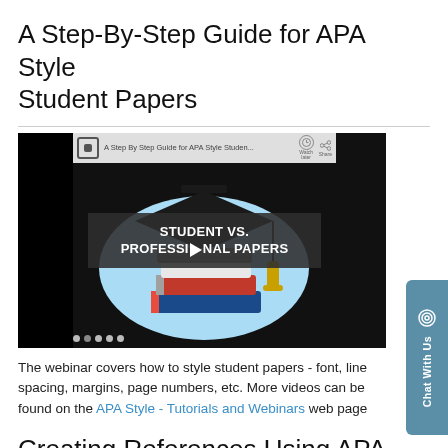A Step-By-Step Guide for APA Style Student Papers
[Figure (screenshot): Embedded YouTube video thumbnail showing a graduation cap and stack of books with text 'STUDENT VS. PROFESSIONAL PAPERS' overlaid, with play button.]
The webinar covers how to style student papers - font, line spacing, margins, page numbers, etc. More videos can be found on the APA Style - Tutorials and Webinars web page
Creating References Using APA Style